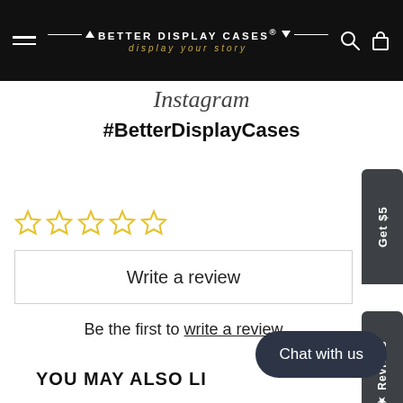BETTER DISPLAY CASES® display your story
Instagram
#BetterDisplayCases
[Figure (other): Five empty star rating icons in yellow/gold outline]
Write a review
Be the first to write a review
YOU MAY ALSO LI...
Get $5
★ Reviews
Chat with us